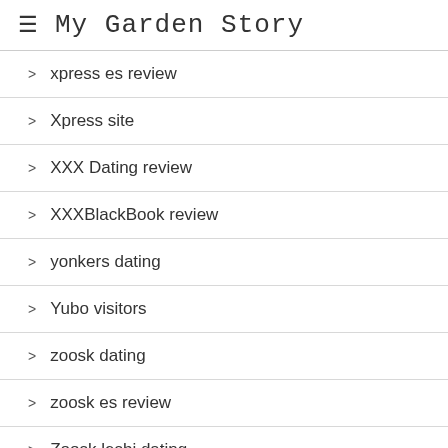My Garden Story
xpress es review
Xpress site
XXX Dating review
XXXBlackBook review
yonkers dating
Yubo visitors
zoosk dating
zoosk es review
Zoosk lesbi dating